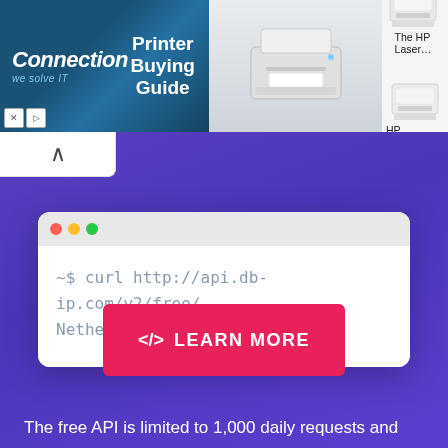[Figure (screenshot): Advertisement banner with Connection logo and 'Printer Buying Guide' text, showing printer images on the right. Below is a purple/indigo background section with a terminal window showing '~$ curl http://api.db-ip.com/v2/free/Netherlands', a pink 'LEARN MORE' button, and bottom text 'The free API is limited to 1,000 daily requests and']
~$ curl http://api.db-ip.com/v2/free/Netherlands
LEARN MORE
The free API is limited to 1,000 daily requests and